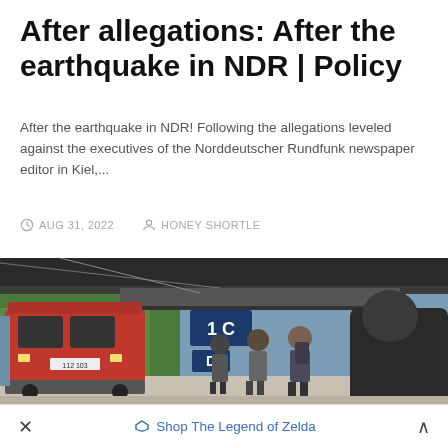After allegations: After the earthquake in NDR | Policy
After the earthquake in NDR! Following the allegations leveled against the executives of the Norddeutscher Rundfunk newspaper editor in Kiel,...
AUG 31, 2022   HONEY SHORTLE
[Figure (photo): A red Deutsche Bahn locomotive at a train station platform with passengers waiting. Platform signs show '1 C' and 'D'. Trees and overhead wires visible in the background.]
× Shop The Legend of Zelda ^